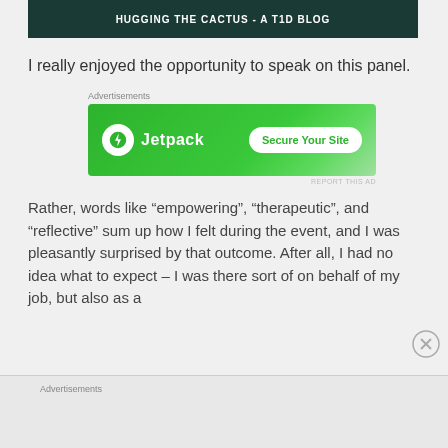HUGGING THE CACTUS - A T1D BLOG
I really enjoyed the opportunity to speak on this panel.
[Figure (other): Jetpack advertisement banner with logo and 'Secure Your Site' button]
Rather, words like “empowering”, “therapeutic”, and “reflective” sum up how I felt during the event, and I was pleasantly surprised by that outcome. After all, I had no idea what to expect – I was there sort of on behalf of my job, but also as a
Advertisements